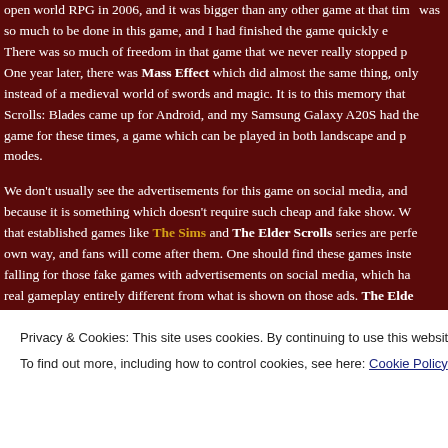open world RPG in 2006, and it was bigger than any other game at that time. There was so much to be done in this game, and I had finished the game quickly. There was so much of freedom in that game that we never really stopped playing. One year later, there was Mass Effect which did almost the same thing, only instead of a medieval world of swords and magic. It is to this memory that Scrolls: Blades came up for Android, and my Samsung Galaxy A20S had the game for these times, a game which can be played in both landscape and portrait modes.
We don't usually see the advertisements for this game on social media, and because it is something which doesn't require such cheap and fake show. We see that established games like The Sims and The Elder Scrolls series are perfect in their own way, and fans will come after them. One should find these games instead of falling for those fake games with advertisements on social media, which have real gameplay entirely different from what is shown on those ads. The Elder Scrolls...
Privacy & Cookies: This site uses cookies. By continuing to use this website, you agree to their use.
To find out more, including how to control cookies, see here: Cookie Policy
Close and accept
[Figure (photo): Bottom strip showing a dark game scene with green event text overlay]